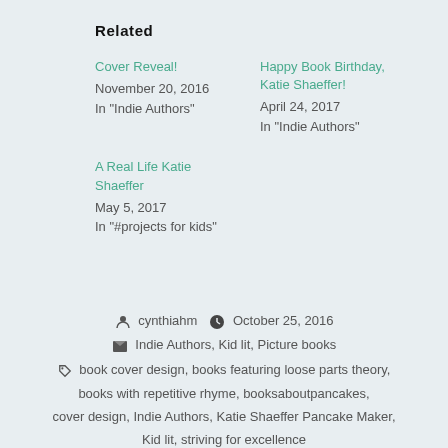Related
Cover Reveal!
November 20, 2016
In "Indie Authors"
Happy Book Birthday, Katie Shaeffer!
April 24, 2017
In "Indie Authors"
A Real Life Katie Shaeffer
May 5, 2017
In "#projects for kids"
cynthiahm   October 25, 2016
Indie Authors, Kid lit, Picture books
book cover design, books featuring loose parts theory, books with repetitive rhyme, booksaboutpancakes, cover design, Indie Authors, Katie Shaeffer Pancake Maker, Kid lit, striving for excellence